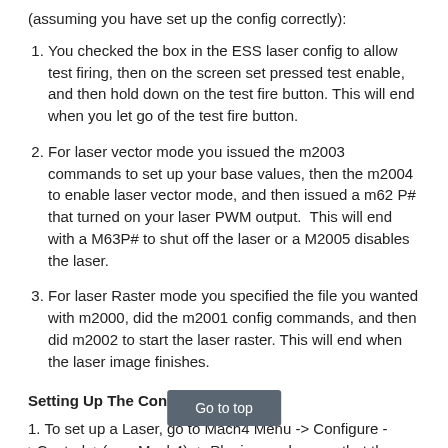(assuming you have set up the config correctly):
You checked the box in the ESS laser config to allow test firing, then on the screen set pressed test enable, and then hold down on the test fire button. This will end when you let go of the test fire button.
For laser vector mode you issued the m2003 commands to set up your base values, then the m2004 to enable laser vector mode, and then issued a m62 P# that turned on your laser PWM output.  This will end with a M63P# to shut off the laser or a M2005 disables the laser.
For laser Raster mode you specified the file you wanted with m2000, did the m2001 config commands, and then did m2002 to start the laser raster. This will end when the laser image finishes.
Setting Up The Configuration:
1. To set up a Laser, go to Mach4 Menu -> Configure ->Control..>(was Mach4) -> Plugins, make sure that the Core,